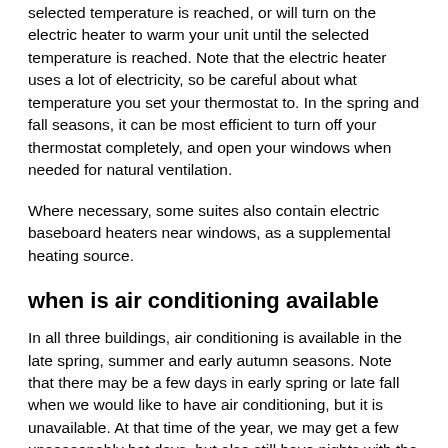selected temperature is reached, or will turn on the electric heater to warm your unit until the selected temperature is reached. Note that the electric heater uses a lot of electricity, so be careful about what temperature you set your thermostat to. In the spring and fall seasons, it can be most efficient to turn off your thermostat completely, and open your windows when needed for natural ventilation.
Where necessary, some suites also contain electric baseboard heaters near windows, as a supplemental heating source.
when is air conditioning available
In all three buildings, air conditioning is available in the late spring, summer and early autumn seasons. Note that there may be a few days in early spring or late fall when we would like to have air conditioning, but it is unavailable. At that time of the year, we may get a few unseasonably hot days, but also still have nights with the temperature below 5 degrees. The air conditioning system cannot be run at temperatures